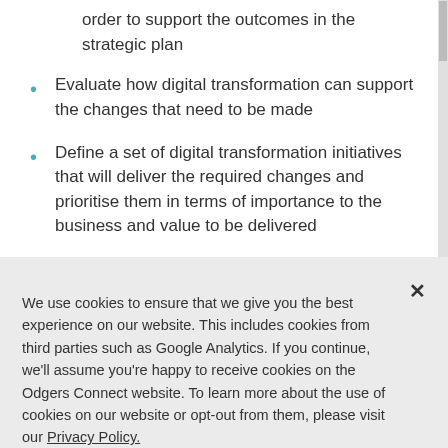order to support the outcomes in the strategic plan
Evaluate how digital transformation can support the changes that need to be made
Define a set of digital transformation initiatives that will deliver the required changes and prioritise them in terms of importance to the business and value to be delivered
We use cookies to ensure that we give you the best experience on our website. This includes cookies from third parties such as Google Analytics. If you continue, we'll assume you're happy to receive cookies on the Odgers Connect website. To learn more about the use of cookies on our website or opt-out from them, please visit our Privacy Policy.